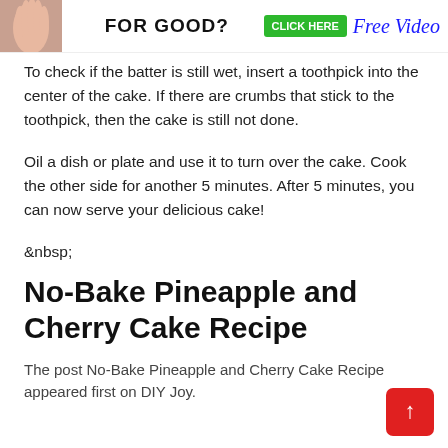[Figure (illustration): Banner ad with a hand/fingers image on the left, bold text 'FOR GOOD?' in the center, a green 'CLICK HERE' button, and blue italic 'Free Video' text on the right.]
To check if the batter is still wet, insert a toothpick into the center of the cake. If there are crumbs that stick to the toothpick, then the cake is still not done.
Oil a dish or plate and use it to turn over the cake. Cook the other side for another 5 minutes. After 5 minutes, you can now serve your delicious cake!
&nbsp;
No-Bake Pineapple and Cherry Cake Recipe
The post No-Bake Pineapple and Cherry Cake Recipe appeared first on DIY Joy.